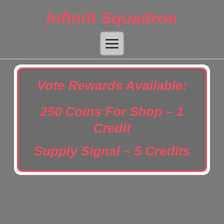Infiniti Squadron
[Figure (other): Hamburger menu button icon (three horizontal lines on a light gray rounded square button)]
Vote Rewards Available:
250 Coins For Shop – 1 Credit
Supply Signal – 5 Credits